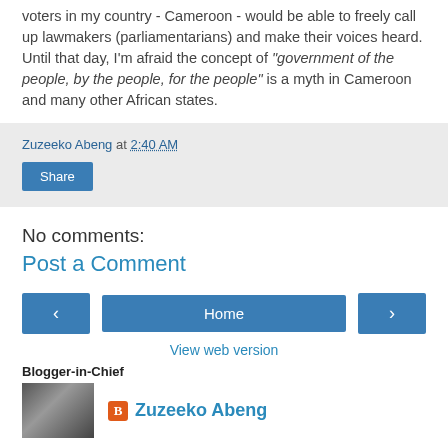voters in my country - Cameroon - would be able to freely call up lawmakers (parliamentarians) and make their voices heard. Until that day, I'm afraid the concept of "government of the people, by the people, for the people" is a myth in Cameroon and many other African states.
Zuzeeko Abeng at 2:40 AM
Share
No comments:
Post a Comment
Home
View web version
Blogger-in-Chief
[Figure (photo): Black and white photo of Zuzeeko Abeng]
Zuzeeko Abeng